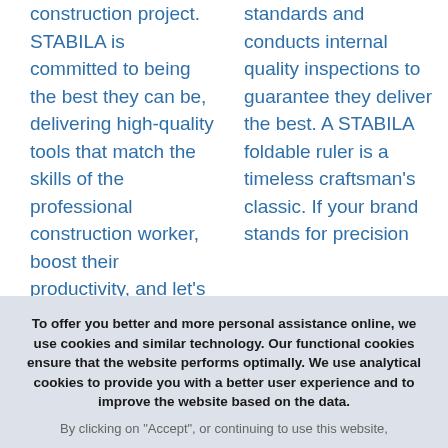construction project. STABILA is committed to being the best they can be, delivering high-quality tools that match the skills of the professional construction worker, boost their productivity, and let's
standards and conducts internal quality inspections to guarantee they deliver the best. A STABILA foldable ruler is a timeless craftsman's classic. If your brand stands for precision
To offer you better and more personal assistance online, we use cookies and similar technology. Our functional cookies ensure that the website performs optimally. We use analytical cookies to provide you with a better user experience and to improve the website based on the data.
By clicking on "Accept", or continuing to use this website,